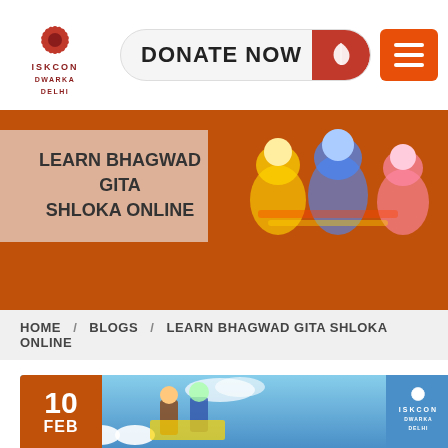[Figure (logo): ISKCON Dwarka Delhi lotus flower logo with text ISKCON DWARKA DELHI]
[Figure (other): DONATE NOW button with orange icon and hamburger menu icon]
[Figure (photo): Orange hero banner with deity figures on right and text box on left]
LEARN BHAGWAD GITA SHLOKA ONLINE
HOME / BLOGS / LEARN BHAGWAD GITA SHLOKA ONLINE
[Figure (photo): Blog post image showing Krishna and Arjuna on chariot with date badge 10 FEB and ISKCON logo watermark]